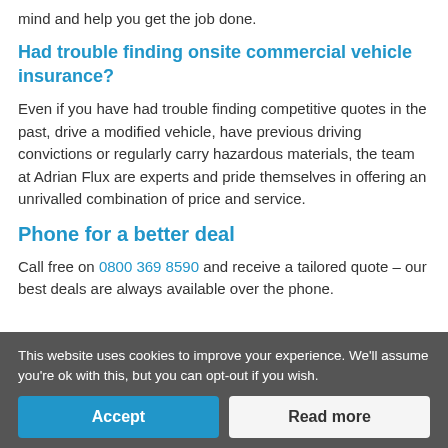mind and help you get the job done.
Had trouble finding onsite commercial vehicle insurance?
Even if you have had trouble finding competitive quotes in the past, drive a modified vehicle, have previous driving convictions or regularly carry hazardous materials, the team at Adrian Flux are experts and pride themselves in offering an unrivalled combination of price and service.
Phone for a better deal
Call free on 0800 369 8590 and receive a tailored quote – our best deals are always available over the phone.
This website uses cookies to improve your experience. We'll assume you're ok with this, but you can opt-out if you wish.
Accept
Read more